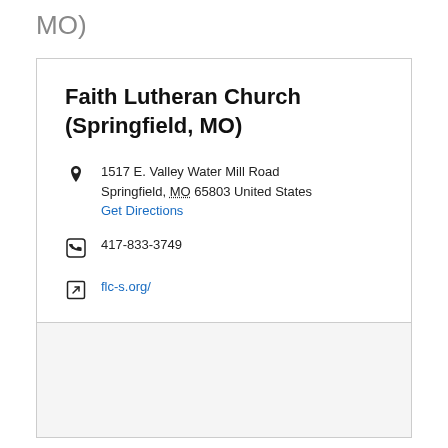MO)
Faith Lutheran Church (Springfield, MO)
1517 E. Valley Water Mill Road Springfield, MO 65803 United States Get Directions
417-833-3749
flc-s.org/
[Figure (map): Map placeholder box]